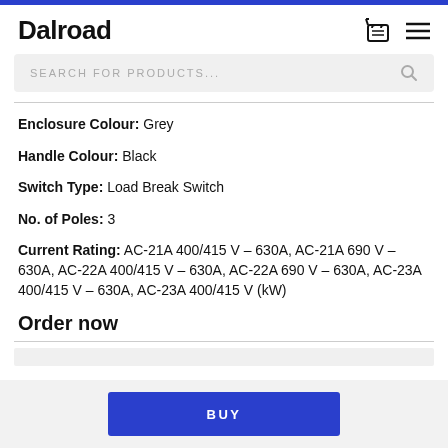Dalroad
SEARCH FOR PRODUCTS...
Enclosure Colour: Grey
Handle Colour: Black
Switch Type: Load Break Switch
No. of Poles: 3
Current Rating: AC-21A 400/415 V – 630A, AC-21A 690 V – 630A, AC-22A 400/415 V – 630A, AC-22A 690 V – 630A, AC-23A 400/415 V – 630A, AC-23A 400/415 V (kW)
Order now